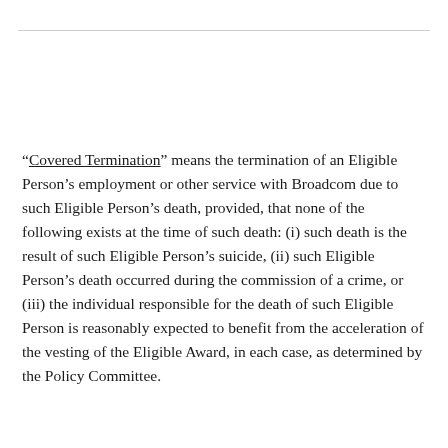“Covered Termination” means the termination of an Eligible Person’s employment or other service with Broadcom due to such Eligible Person’s death, provided, that none of the following exists at the time of such death: (i) such death is the result of such Eligible Person’s suicide, (ii) such Eligible Person’s death occurred during the commission of a crime, or (iii) the individual responsible for the death of such Eligible Person is reasonably expected to benefit from the acceleration of the vesting of the Eligible Award, in each case, as determined by the Policy Committee.